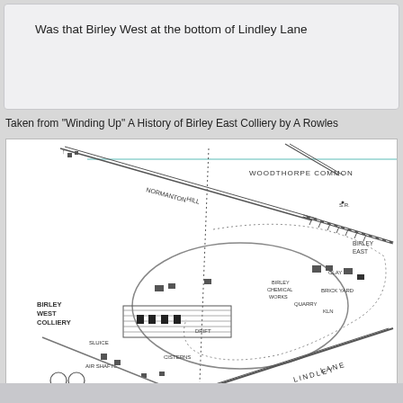Was that Birley West at the bottom of Lindley Lane
Taken from "Winding Up" A History of Birley East Colliery by A Rowles
[Figure (map): Historical map showing Birley West Colliery and surrounding area including Woodthorpe Common, Normanton Hill, Birley East, Clay Pit, Brick Yard, Quarry, Birley Chemical Works, Cisterns, Air Shafts, and Lindley Lane. Black and white line drawing map with labels for various industrial and geographical features.]